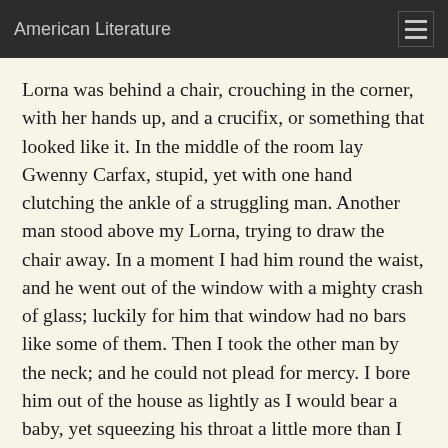American Literature
Lorna was behind a chair, crouching in the corner, with her hands up, and a crucifix, or something that looked like it. In the middle of the room lay Gwenny Carfax, stupid, yet with one hand clutching the ankle of a struggling man. Another man stood above my Lorna, trying to draw the chair away. In a moment I had him round the waist, and he went out of the window with a mighty crash of glass; luckily for him that window had no bars like some of them. Then I took the other man by the neck; and he could not plead for mercy. I bore him out of the house as lightly as I would bear a baby, yet squeezing his throat a little more than I fain would do to an infant.